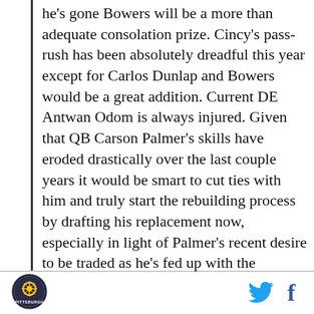he's gone Bowers will be a more than adequate consolation prize. Cincy's pass-rush has been absolutely dreadful this year except for Carlos Dunlap and Bowers would be a great addition. Current DE Antwan Odom is always injured. Given that QB Carson Palmer's skills have eroded drastically over the last couple years it would be smart to cut ties with him and truly start the rebuilding process by drafting his replacement now, especially in light of Palmer's recent desire to be traded as he's fed up with the continual circus that is the Bengals. Unfortunately for the Bengals and Palmer owner Mike Brown is extremely complacent and resistant to change and will probably allow Palmer to play out his contract before finding a new
[Figure (logo): Pittsburgh sports logo - circular emblem with Pittsburgh text]